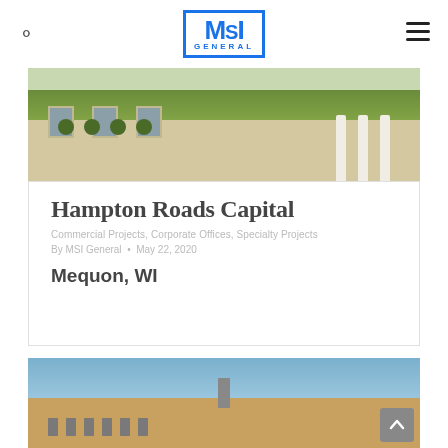MSI GENERAL
[Figure (photo): Exterior photo of a light-brick commercial building with white columns, green lawn, and yellow flowering plants along the base]
Hampton Roads Capital
Commercial Projects, Corporate Offices, Specialty Projects
By MSI General • May 22, 2020
Mequon, WI
[Figure (photo): Exterior photo of a tan/orange brick building with a chimney, against a blue sky]